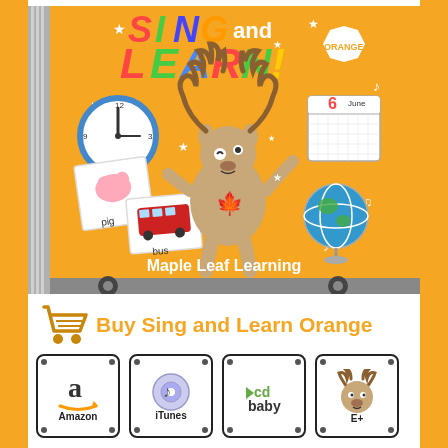[Figure (illustration): Book cover for 'Sing and Learn Orange' by Maple Leaf Learning, featuring a cartoon moose, clock, calendar, globe, and flashcards on an orange background]
Buy Sing and Learn Orange
[Figure (logo): Amazon store logo button]
[Figure (logo): iTunes store logo button]
[Figure (logo): CD Baby store logo button]
[Figure (logo): E+ store logo button with moose icon]